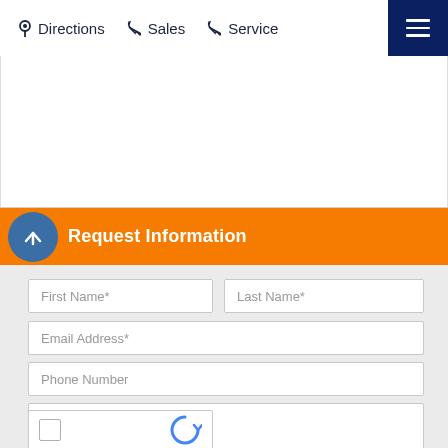Directions  Sales  Service
[Figure (screenshot): White content area placeholder (map or image area)]
Request Information
First Name*
Last Name*
Email Address*
Phone Number
Comments
[Figure (other): reCAPTCHA widget with checkbox]